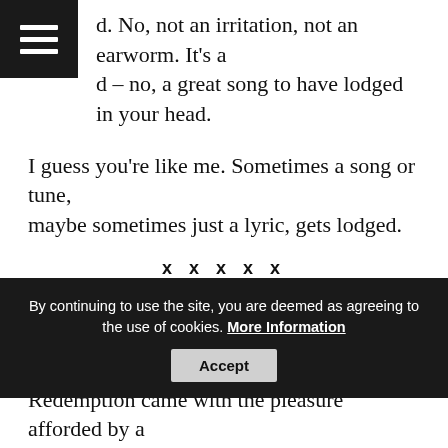d. No, not an irritation, not an earworm. It's a d – no, a great song to have lodged in your head.
I guess you're like me. Sometimes a song or tune, maybe sometimes just a lyric, gets lodged.
x x x x x
An oddly-for-the-time-of-year warm day. Sitting outside eating lunch. A few yards away – birds. The frantic hunt for food, the competition for sustenance, the striving for a mate.
My frame of mind at the time led me to find it all predictable and fundamentally bleak.
By continuing to use the site, you are deemed as agreeing to the use of cookies. More Information
Redemption came with the pleasure afforded by a